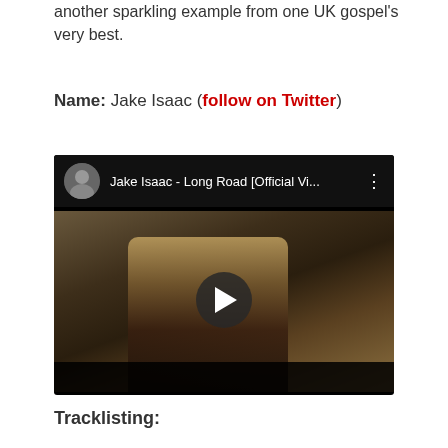another sparkling example from one UK gospel's very best.
Name: Jake Isaac (follow on Twitter)
[Figure (screenshot): YouTube video embed showing Jake Isaac - Long Road [Official Vi...] with a thumbnail of a man outdoors among trees, with a play button overlay]
Tracklisting: